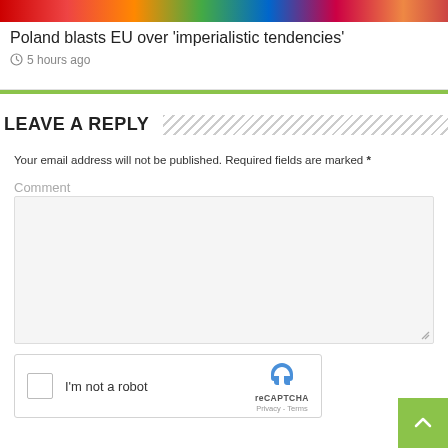[Figure (screenshot): Article card with image strip showing people and article title 'Poland blasts EU over imperialistic tendencies' with timestamp '5 hours ago']
LEAVE A REPLY
Your email address will not be published. Required fields are marked *
Comment
[Figure (screenshot): reCAPTCHA widget with checkbox labeled 'I'm not a robot' and reCAPTCHA branding with Privacy and Terms links]